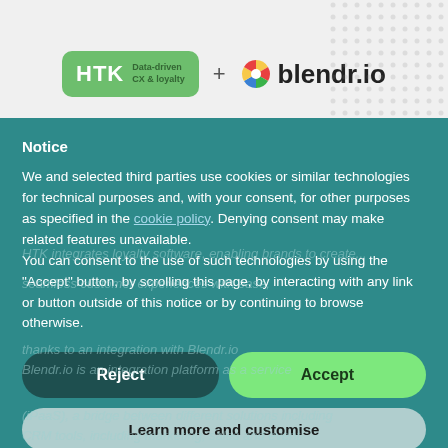[Figure (logo): HTK Data-driven CX & loyalty logo plus blendr.io logo on light grey background with dot pattern]
Notice
We and selected third parties use cookies or similar technologies for technical purposes and, with your consent, for other purposes as specified in the cookie policy. Denying consent may make related features unavailable.
You can consent to the use of such technologies by using the "Accept" button, by scrolling this page, by interacting with any link or button outside of this notice or by continuing to browse otherwise.
Reject
Accept
Learn more and customise